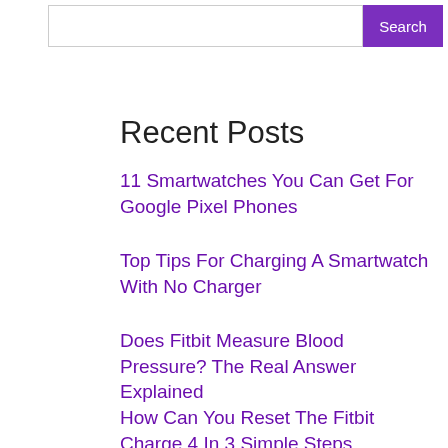Search
Recent Posts
11 Smartwatches You Can Get For Google Pixel Phones
Top Tips For Charging A Smartwatch With No Charger
Does Fitbit Measure Blood Pressure? The Real Answer Explained
How Can You Reset The Fitbit Charge 4 In 3 Simple Steps
How To Change The Time On An Armitron